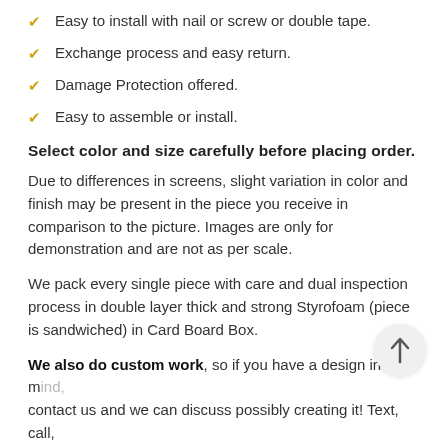Easy to install with nail or screw or double tape.
Exchange process and easy return.
Damage Protection offered.
Easy to assemble or install.
Select color and size carefully before placing order.
Due to differences in screens, slight variation in color and finish may be present in the piece you receive in comparison to the picture. Images are only for demonstration and are not as per scale.
We pack every single piece with care and dual inspection process in double layer thick and strong Styrofoam (piece is sandwiched) in Card Board Box.
We also do custom work, so if you have a design in mind, contact us and we can discuss possibly creating it! Text, call, WhatsApp at +92 311 411 6666. We ship allover in Pakistan. If you